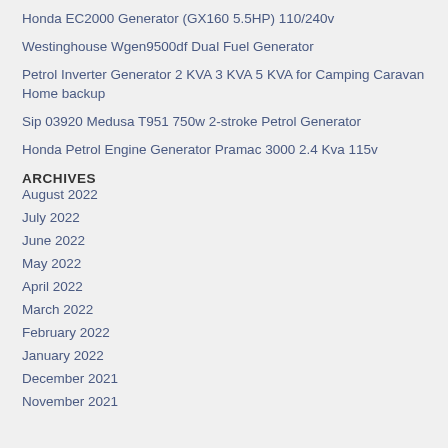Honda EC2000 Generator (GX160 5.5HP) 110/240v
Westinghouse Wgen9500df Dual Fuel Generator
Petrol Inverter Generator 2 KVA 3 KVA 5 KVA for Camping Caravan Home backup
Sip 03920 Medusa T951 750w 2-stroke Petrol Generator
Honda Petrol Engine Generator Pramac 3000 2.4 Kva 115v
ARCHIVES
August 2022
July 2022
June 2022
May 2022
April 2022
March 2022
February 2022
January 2022
December 2021
November 2021